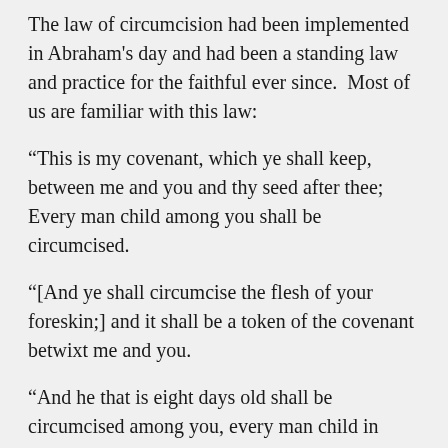The law of circumcision had been implemented in Abraham's day and had been a standing law and practice for the faithful ever since.  Most of us are familiar with this law:
“This is my covenant, which ye shall keep, between me and you and thy seed after thee; Every man child among you shall be circumcised.
“[And ye shall circumcise the flesh of your foreskin;] and it shall be a token of the covenant betwixt me and you.
“And he that is eight days old shall be circumcised among you, every man child in your generations…
“…and the covenant shall be in your flesh for an everlasting covenant.” (Genesis 17: 10-13)
That’s the part of the law we know and are familiar